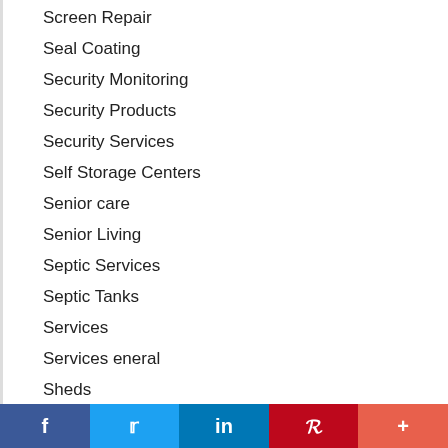Screen Repair
Seal Coating
Security Monitoring
Security Products
Security Services
Self Storage Centers
Senior care
Senior Living
Septic Services
Septic Tanks
Services
Services eneral
Sheds
Shopping
f  t  in  P  +